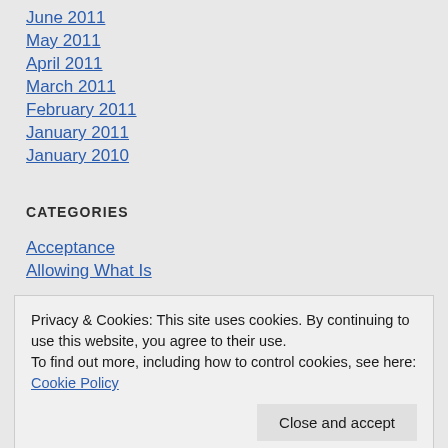June 2011
May 2011
April 2011
March 2011
February 2011
January 2011
January 2010
CATEGORIES
Acceptance
Allowing What Is
Privacy & Cookies: This site uses cookies. By continuing to use this website, you agree to their use.
To find out more, including how to control cookies, see here: Cookie Policy
Breaking Open